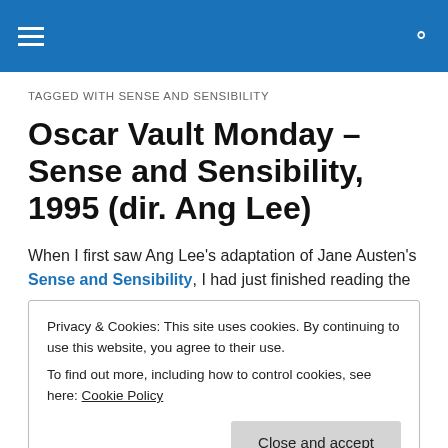≡  🔍
TAGGED WITH SENSE AND SENSIBILITY
Oscar Vault Monday – Sense and Sensibility, 1995 (dir. Ang Lee)
When I first saw Ang Lee's adaptation of Jane Austen's Sense and Sensibility, I had just finished reading the
Privacy & Cookies: This site uses cookies. By continuing to use this website, you agree to their use.
To find out more, including how to control cookies, see here: Cookie Policy
[Close and accept]
with the film, despite said changes. I think it's really one of